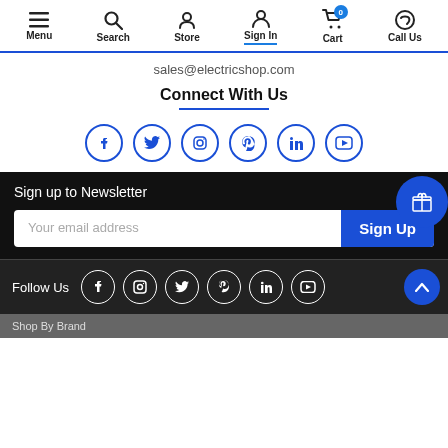Menu | Search | Store | Sign In | Cart (0) | Call Us
sales@electricshop.com
Connect With Us
[Figure (illustration): Six social media icons in blue circles: Facebook, Twitter, Instagram, Pinterest, LinkedIn, YouTube]
Sign up to Newsletter
Your email address
Sign Up
Follow Us
[Figure (illustration): Six social media icons in white circles on dark background: Facebook, Instagram, Twitter, Pinterest, LinkedIn, YouTube]
Shop By Brand